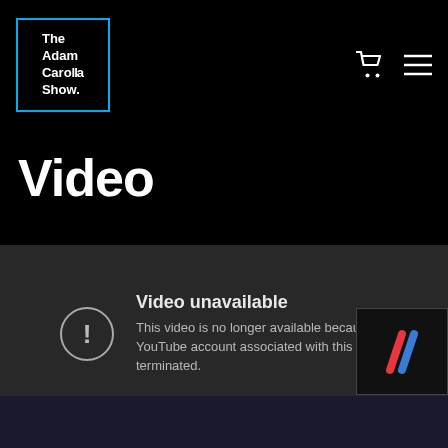[Figure (logo): The Adam Carolla Show logo in cyan-bordered box, top-left of black header bar with shopping cart and hamburger menu icons]
Video
[Figure (screenshot): Embedded YouTube video player showing 'Video unavailable' error message with exclamation icon in circle. Text reads: 'This video is no longer available because the YouTube account associated with this video has been terminated.']
[Figure (logo): Threadless double-slash logo (red and blue diagonal lines) on dark background, bottom-right corner]